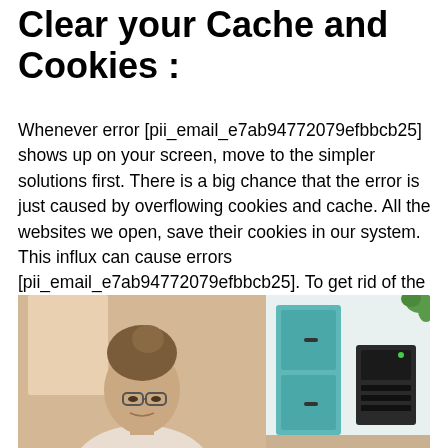Clear your Cache and Cookies :
Whenever error [pii_email_e7ab94772079efbbcb25] shows up on your screen, move to the simpler solutions first. There is a big chance that the error is just caused by overflowing cookies and cache. All the websites we open, save their cookies in our system. This influx can cause errors [pii_email_e7ab94772079efbbcb25]. To get rid of the error [pii_email_e7ab94772079efbbcb25], you just have to delete all the cache and cookies. Now open Outlook, there is a big chance that the error will be gone already.
[Figure (photo): A woman with hair in a bun, wearing glasses, looking down — left panel. Right panel shows an office/desk scene with teal cabinet and black equipment.]